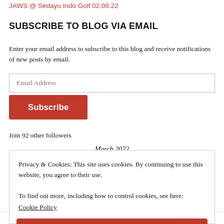JAWS @ Sedayu Indo Golf 02.08.22
SUBSCRIBE TO BLOG VIA EMAIL
Enter your email address to subscribe to this blog and receive notifications of new posts by email.
Email Address
Subscribe
Join 92 other followers
March 2022
Privacy & Cookies: This site uses cookies. By continuing to use this website, you agree to their use.
To find out more, including how to control cookies, see here:
Cookie Policy
Close and accept
21  22  23  24  25  26  27